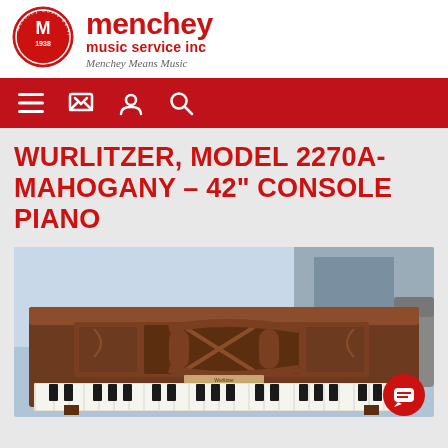[Figure (logo): Menchey Music Service Inc circular logo in red and white with M emblem and '1938' text]
menchey music service inc
Menchey Means Music
[Figure (infographic): Red navigation bar with white icons: hamburger menu, phone, user/account, and search]
WURLITZER, MODEL 2270A- MAHOGANY – 42" CONSOLE PIANO
[Figure (photo): Photo of a Wurlitzer mahogany console piano, model 2270A, showing the full front view with decorative music desk panel, keyboard with black and white keys, in a store setting]